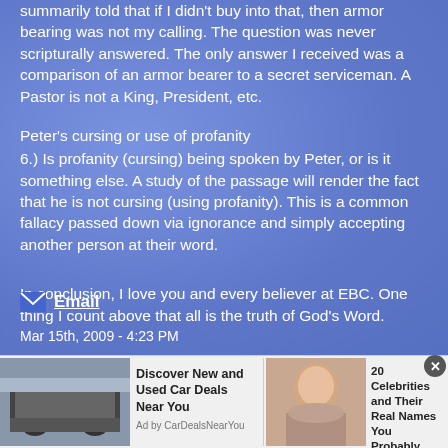summarily told that if I didn't buy into that, then armor bearing was not my calling. The question was never scripturally answered. The only answer I received was a comparison of an armor bearer to a secret serviceman. A Pastor is not a King, President, etc.
Peter's cursing or use of profanity
6.) Is profanity (cursing) being spoken by Peter, or is it something else. A study of the passage will render the fact that he is not cursing (using profanity). This is a common fallacy passed down via ignorance and simply accepting another person at their word.
In conclusion, I love you and every believer at EBC. One thing I count above that all is the truth of God's Word.
✉ Email
Mar 15th, 2009 - 4:23 PM
[Figure (other): Advertisement: car image with text 'Discover New and Used Car Deals Near You', Ad by CarDealsNearYou]
[Figure (other): Advertisement: celebrity photo with text '20 Celebrities and Their Real Names You Probably Don't Know!', Ad by RilyNews]